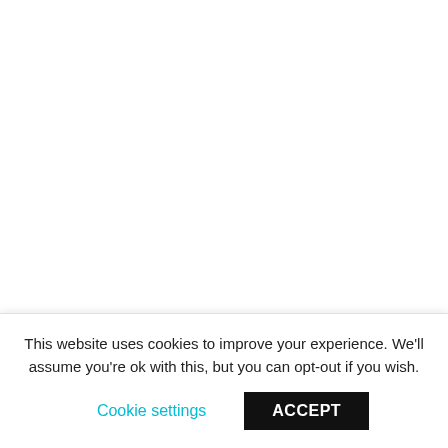Under a supervised out of season and out of hours visit to
This website uses cookies to improve your experience. We'll assume you're ok with this, but you can opt-out if you wish.
Cookie settings   ACCEPT